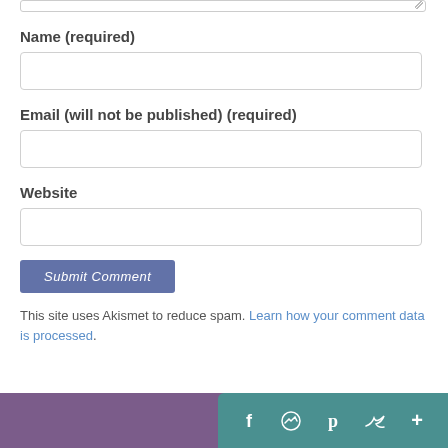Name (required)
[Figure (screenshot): Empty text input field for Name]
Email (will not be published) (required)
[Figure (screenshot): Empty text input field for Email]
Website
[Figure (screenshot): Empty text input field for Website]
[Figure (screenshot): Submit Comment button in blue-purple]
This site uses Akismet to reduce spam. Learn how your comment data is processed.
Social sharing bar with Facebook, Messenger, Pinterest, Twitter, More icons